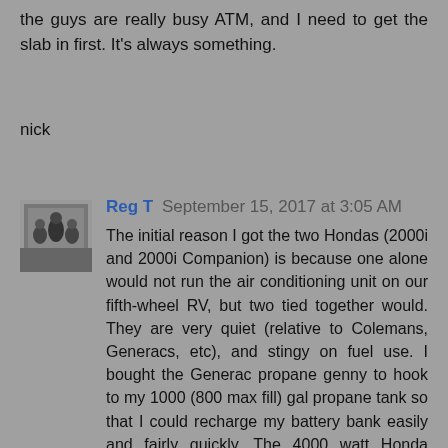the guys are really busy ATM, and I need to get the slab in first. It's always something.
nick
Reg T  September 15, 2017 at 3:05 AM
The initial reason I got the two Hondas (2000i and 2000i Companion) is because one alone would not run the air conditioning unit on our fifth-wheel RV, but two tied together would. They are very quiet (relative to Colemans, Generacs, etc), and stingy on fuel use. I bought the Generac propane genny to hook to my 1000 (800 max fill) gal propane tank so that I could recharge my battery bank easily and fairly quickly. The 4000 watt Honda combo will actually run everything in the house I need to run, quietly, as long as I don't try to run everything at once. With the propane conversion, I can run it off of the big tank.